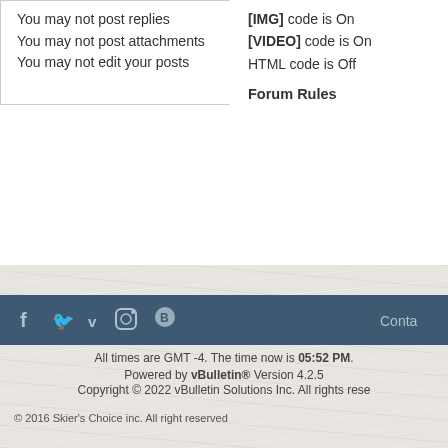You may not post replies
You may not post attachments
You may not edit your posts
[IMG] code is On
[VIDEO] code is On
HTML code is Off
Forum Rules
[Figure (screenshot): Dark blue navigation bar with social media icons (Facebook, Twitter, Vimeo, Instagram, Blogger) and a Contact link on the right]
© 2016 Skier's Choice inc. All right reserved
All times are GMT -4. The time now is 05:52 PM.
Powered by vBulletin® Version 4.2.5
Copyright © 2022 vBulletin Solutions Inc. All rights reserved